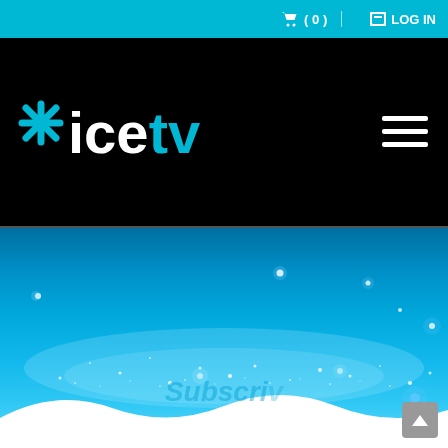🛒 ( 0 )  |  🔲 LOG IN
[Figure (logo): IceTV logo with blue star icon and 'ice' in white and 'tv' in cyan on black background, with hamburger menu icon on the right]
[Figure (photo): IceTV hero banner with blue bokeh sparkle background, white wave at bottom, and faded 'Subscri...' watermark text]